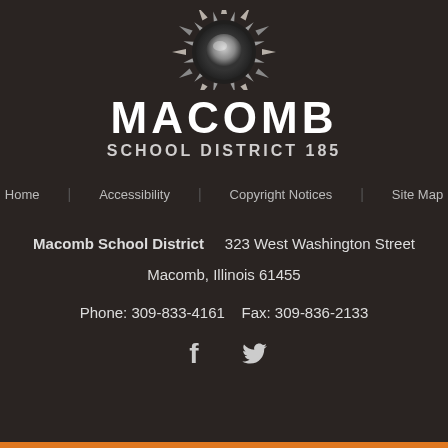[Figure (logo): Macomb School District 185 logo with decorative emblem at top]
MACOMB
SCHOOL DISTRICT 185
Home
Accessibility
Copyright Notices
Site Map
Macomb School District    323 West Washington Street
Macomb, Illinois 61455
Phone: 309-833-4161    Fax: 309-836-2133
[Figure (logo): Facebook and Twitter social media icons]